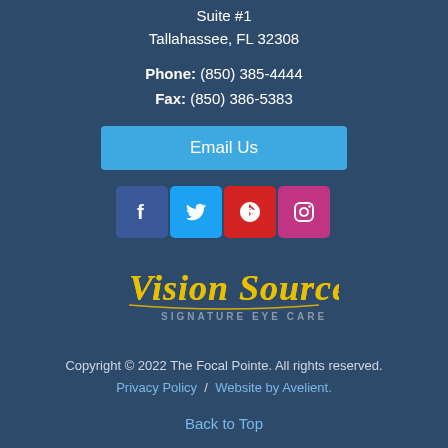Suite #1
Tallahassee, FL 32308
Phone: (850) 385-4444
Fax: (850) 386-5383
Email Us
[Figure (infographic): Row of four social media icons: Facebook (blue), Twitter (light blue), Yelp (red), Instagram (pink/magenta)]
[Figure (logo): Vision Source Signature Eye Care logo with stylized handwritten yellow/gold text and gray subtitle]
Copyright © 2022 The Focal Pointe. All rights reserved.
Privacy Policy  /  Website by Avelient.
Back to Top